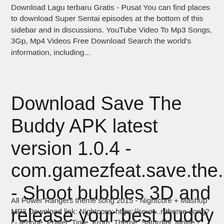Download Lagu terbaru Gratis - Pusat You can find places to download Super Sentai episodes at the bottom of this sidebar and in discussions. YouTube Video To Mp3 Songs, 3Gp, Mp4 Videos Free Download Search the world's information, including...
Download Save The Buddy APK latest version 1.0.4 - com.gamezfeat.save.the.buddy - Shoot bubbles 3D and release your best buddy friend!!
All Power Rangers theme song 2015 - Nightcore + Mashup MP3 Download link: Nightcore: https://soun...r-theme-song? i - iPhone, Power, Time, From, Theme, Saturday, Movie -